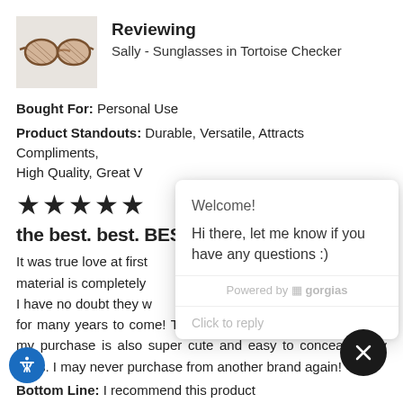[Figure (photo): Product photo of Sally sunglasses in tortoise checker pattern on white background]
Reviewing
Sally - Sunglasses in Tortoise Checker
Bought For: Personal Use
Product Standouts: Durable, Versatile, Attracts Compliments, High Quality, Great V...
★★★★★
the best. best. BES...
It was true love at first sight... material is completely... I have no doubt they w... for many years to come! The little leather case included with my purchase is also super cute and easy to conceal in my bags. I may never purchase from another brand again!
Bottom Line: I recommend this product
[Figure (screenshot): Chat popup overlay with Welcome! greeting and message: Hi there, let me know if you have any questions :). Powered by gorgias. Click to reply input area.]